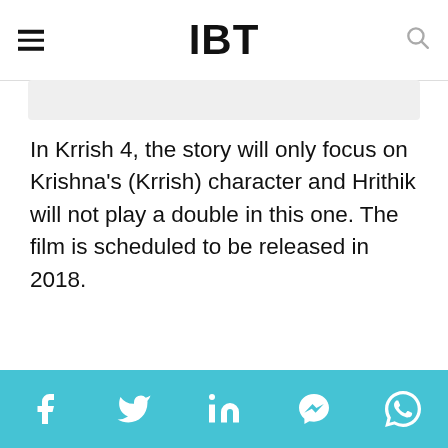IBT
In Krrish 4, the story will only focus on Krishna's (Krrish) character and Hrithik will not play a double in this one. The film is scheduled to be released in 2018.
What's interesting to note is that the push for making a fourth Krrish film came from a Ganapati idol that resembled the caped crusader very closely. It was when he saw how